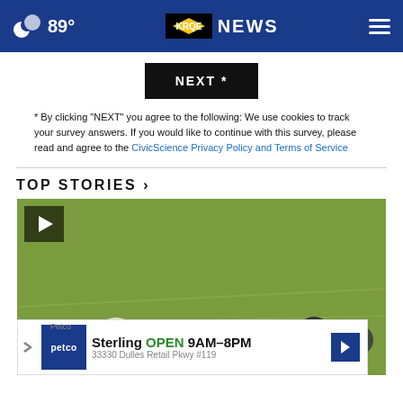89° KRQE NEWS
[Figure (screenshot): NEXT * button — black rectangle with white bold text]
* By clicking "NEXT" you agree to the following: We use cookies to track your survey answers. If you would like to continue with this survey, please read and agree to the CivicScience Privacy Policy and Terms of Service
TOP STORIES ›
[Figure (photo): Football field with players on green grass, play button icon in top-left corner, Petco advertisement overlay at bottom]
Petco Sterling OPEN 9AM–8PM